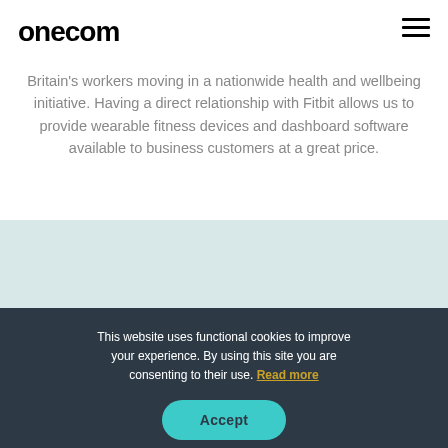onecom
Britain’s workers moving in a nationwide health and wellbeing initiative. Having a direct relationship with Fitbit allows us to provide wearable fitness devices and dashboard software available to business customers at a great price.
This website uses functional cookies to improve your experience. By using this site you are consenting to their use. Read more
Accept